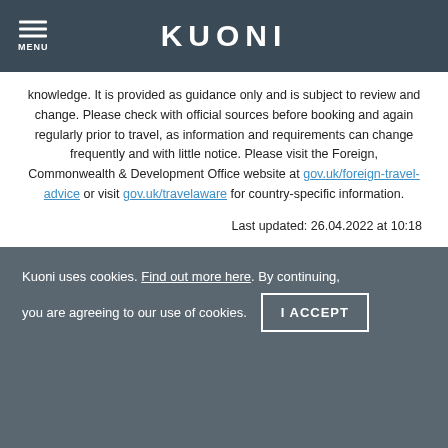KUONI
knowledge. It is provided as guidance only and is subject to review and change. Please check with official sources before booking and again regularly prior to travel, as information and requirements can change frequently and with little notice. Please visit the Foreign, Commonwealth & Development Office website at gov.uk/foreign-travel-advice or visit gov.uk/travelaware for country-specific information.
Last updated: 26.04.2022 at 10:18
Kuoni uses cookies. Find out more here. By continuing, you are agreeing to our use of cookies.